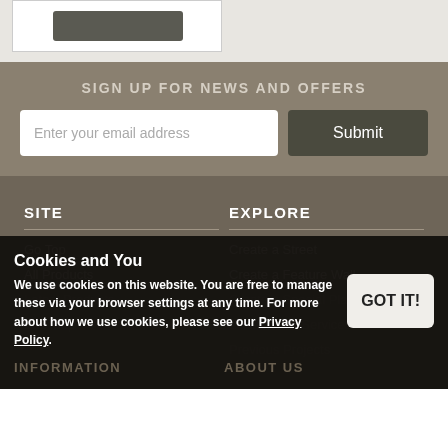[Figure (screenshot): Top section with white box and dark button on light gray background]
SIGN UP FOR NEWS AND OFFERS
Enter your email address
Submit
SITE
Go Top
All Products
Latest Products
Site Map
EXPLORE
Create a Street
Create a Feature Wall
Create a Special Place
Customised Services
Previous Projects
Cookies and You
We use cookies on this website. You are free to manage these via your browser settings at any time. For more about how we use cookies, please see our Privacy Policy.
GOT IT!
INFORMATION
ABOUT US